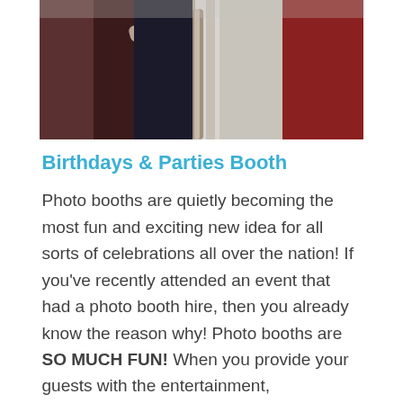[Figure (photo): Photo showing people near a photo booth, partially visible at top of page. Figures in red and black clothing visible against a light background with booth equipment.]
Birthdays & Parties Booth
Photo booths are quietly becoming the most fun and exciting new idea for all sorts of celebrations all over the nation! If you've recently attended an event that had a photo booth hire, then you already know the reason why! Photo booths are SO MUCH FUN! When you provide your guests with the entertainment, excitement, and sheer fun a photo booth hire brings...